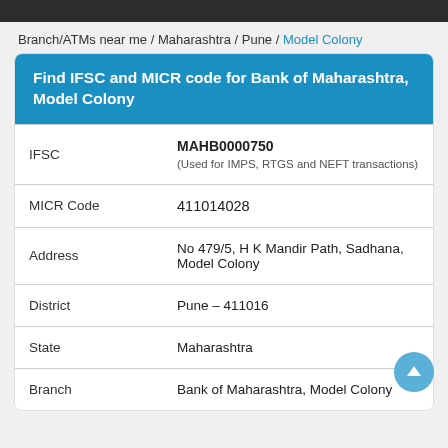Branch/ATMs near me / Maharashtra / Pune / Model Colony
Find IFSC and MICR code for Bank of Maharashtra, Model Colony
| IFSC | MAHB0000750
(Used for IMPS, RTGS and NEFT transactions) |
| MICR Code | 411014028 |
| Address | No 479/5, H K Mandir Path, Sadhana, Model Colony |
| District | Pune - 411016 |
| State | Maharashtra |
| Branch | Bank of Maharashtra, Model Colony |